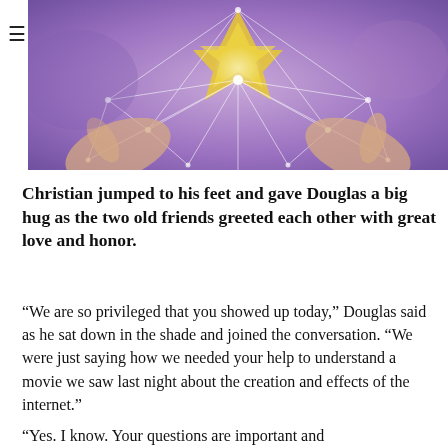[Figure (illustration): Spiritual/mystical illustration showing hands reaching toward a glowing geometric star shape (Merkaba/Star of David) with white light lines and network patterns on a purple and yellow background.]
Christian jumped to his feet and gave Douglas a big hug as the two old friends greeted each other with great love and honor.
“We are so privileged that you showed up today,” Douglas said as he sat down in the shade and joined the conversation. “We were just saying how we needed your help to understand a movie we saw last night about the creation and effects of the internet.”
“Yes. I know. Your questions are important and